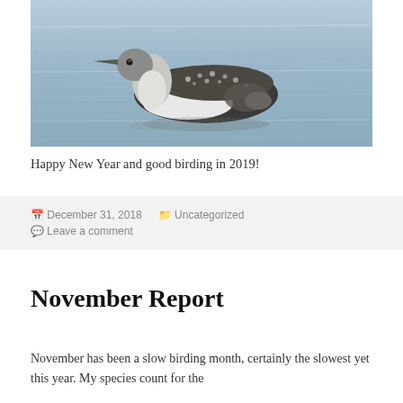[Figure (photo): A loon (common loon in winter plumage) swimming on rippling water. The bird has a dark speckled back, white chest, and grey head with a pointed beak. The water is blue-grey with gentle waves.]
Happy New Year and good birding in 2019!
📅 December 31, 2018   🗂 Uncategorized
💬 Leave a comment
November Report
November has been a slow birding month, certainly the slowest yet this year. My species count for the